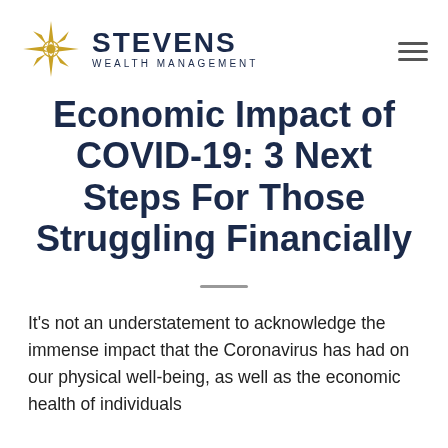STEVENS WEALTH MANAGEMENT
Economic Impact of COVID-19: 3 Next Steps For Those Struggling Financially
It's not an understatement to acknowledge the immense impact that the Coronavirus has had on our physical well-being, as well as the economic health of individuals